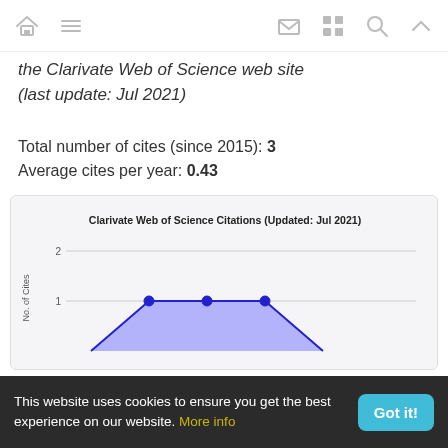Navigation bar with home, menu, mail, grid, search, and up icons
the Clarivate Web of Science web site (last update: Jul 2021)
Total number of cites (since 2015): 3
Average cites per year: 0.43
[Figure (area-chart): Clarivate Web of Science Citations (Updated: Jul 2021)]
This website uses cookies to ensure you get the best experience on our website. More info
Got it!